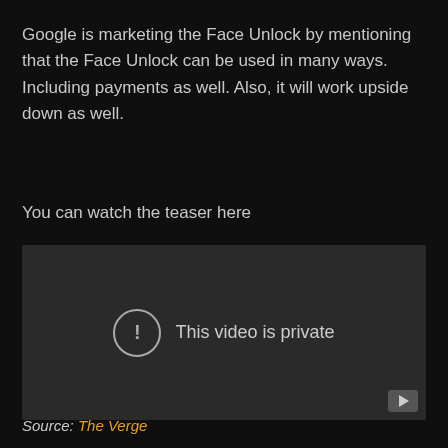Google is marketing the Face Unlock by mentioning that the Face Unlock can be used in many ways. Including payments as well. Also, it will work upside down as well.
You can watch the teaser here
[Figure (screenshot): An embedded video player showing a YouTube video embed with a dark grey background and the message 'This video is private' with an exclamation mark icon, and a YouTube play button icon in the bottom right corner.]
Source: The Verge